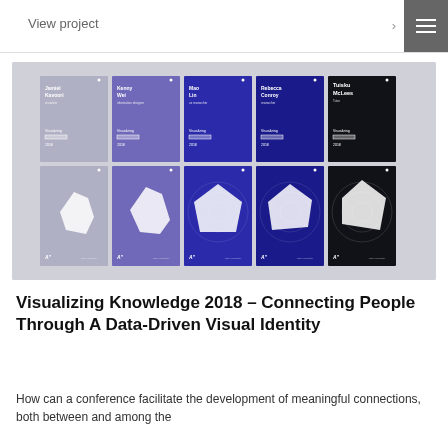View project
[Figure (illustration): A 2x5 grid of conference identity cards for Visualizing Knowledge 2018. Top row shows five name cards with colored backgrounds (light gray, medium purple, blue, dark blue, black) displaying names: Jamiel Kavoori, Kenny Wei, Mao Lin, Rebecca Conroy, Tuisku McLees, each with 'Visualizing' label and 2018 year. Bottom row shows matching radar/spider chart visualizations on the same color backgrounds with an 'A' logo mark.]
Visualizing Knowledge 2018 – Connecting People Through A Data-Driven Visual Identity
How can a conference facilitate the development of meaningful connections, both between and among the